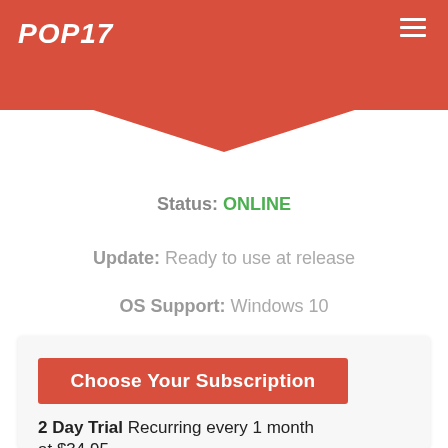POP17
Status: ONLINE
Update: Ready to use at release
OS Support: Windows 10
Choose Your Subscription
2 Day Trial Recurring every 1 month at $34.95